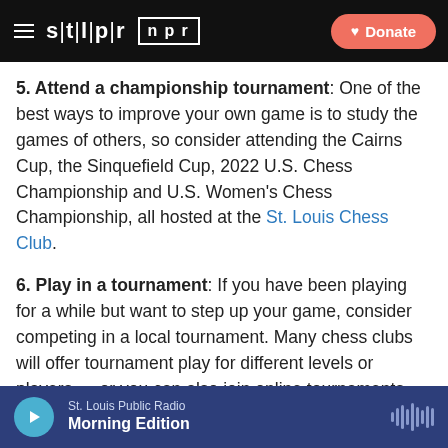STLPR NPR | Donate
5. Attend a championship tournament: One of the best ways to improve your own game is to study the games of others, so consider attending the Cairns Cup, the Sinquefield Cup, 2022 U.S. Chess Championship and U.S. Women's Chess Championship, all hosted at the St. Louis Chess Club.
6. Play in a tournament: If you have been playing for a while but want to step up your game, consider competing in a local tournament. Many chess clubs will offer tournament play for different levels or players — or you can also join online tournaments and play against similarly skilled players nationwide. Visit the St. Louis Chess Club's website to learn more about weekly online
St. Louis Public Radio | Morning Edition